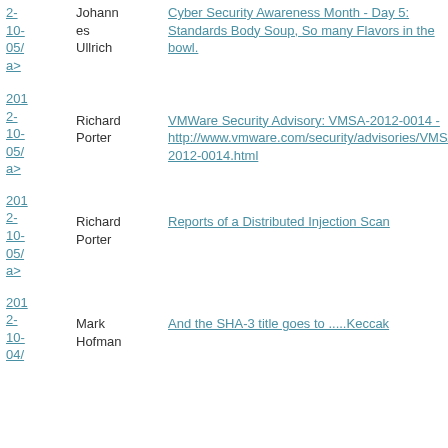| Date | Author | Title |
| --- | --- | --- |
| 2-10-05/
a> | Johannes Ullrich | Cyber Security Awareness Month - Day 5: Standards Body Soup, So many Flavors in the bowl. |
| 201
2-10-05/
a> | Richard Porter | VMWare Security Advisory: VMSA-2012-0014 - http://www.vmware.com/security/advisories/VMSA-2012-0014.html |
| 201
2-10-05/
a> | Richard Porter | Reports of a Distributed Injection Scan |
| 201
2-10-04/ | Mark Hofman | And the SHA-3 title goes to .....Keccak |